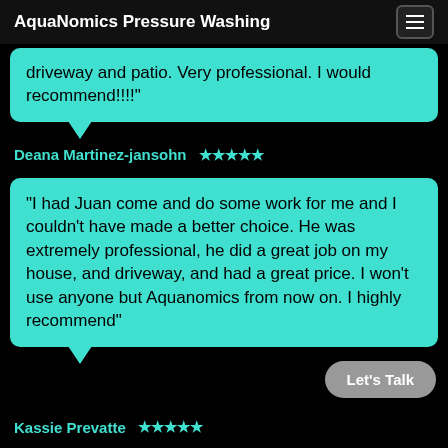AquaNomics Pressure Washing
driveway and patio. Very professional. I would recommend!!!!"
Deana Martinez-jansohn ★★★★★
"I had Juan come and do some work for me and I couldn't have made a better choice. He was extremely professional, he did a great job on my house, and driveway, and had a great price. I won't use anyone but Aquanomics from now on. I highly recommend"
Let's Talk
Kassie Prevatte ★★★★★